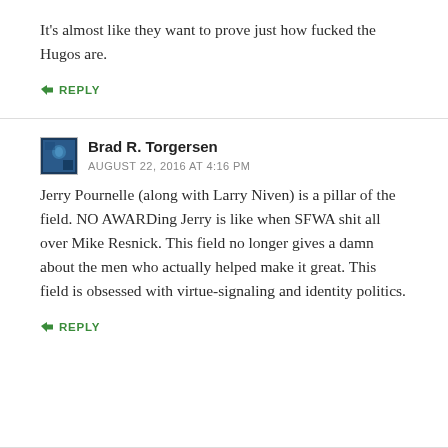It's almost like they want to prove just how fucked the Hugos are.
↳ REPLY
Brad R. Torgersen
AUGUST 22, 2016 AT 4:16 PM
Jerry Pournelle (along with Larry Niven) is a pillar of the field. NO AWARDing Jerry is like when SFWA shit all over Mike Resnick. This field no longer gives a damn about the men who actually helped make it great. This field is obsessed with virtue-signaling and identity politics.
↳ REPLY